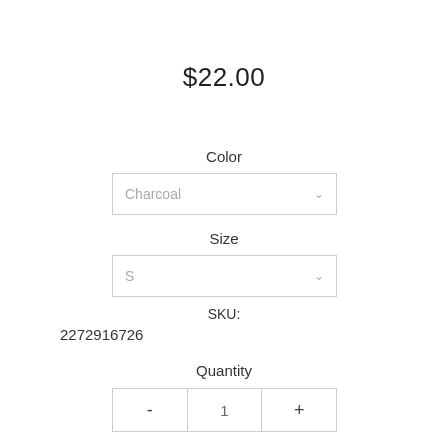$22.00
Color
[Figure (screenshot): Dropdown selector showing 'Charcoal' with a down chevron]
Size
[Figure (screenshot): Dropdown selector showing 'S' with a down chevron]
SKU:
2272916726
Quantity
[Figure (screenshot): Quantity stepper with minus button, value 1, and plus button]